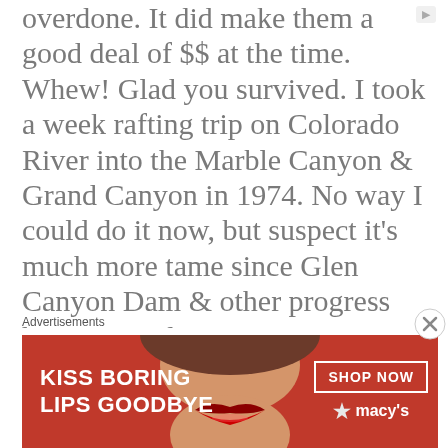overdone. It did make them a good deal of $$ at the time. Whew! Glad you survived. I took a week rafting trip on Colorado River into the Marble Canyon & Grand Canyon in 1974. No way I could do it now, but suspect it's much more tame since Glen Canyon Dam & other progress has occurred
Advertisements
[Figure (photo): Advertisement banner for Macy's lipstick. Red background with a close-up photo of a woman's lips wearing red lipstick. Text reads 'KISS BORING LIPS GOODBYE' on the left and 'SHOP NOW' button with Macy's star logo on the right.]